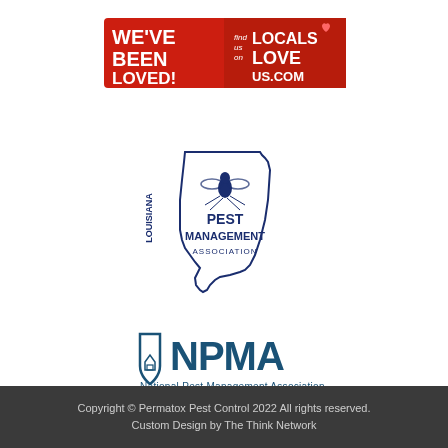[Figure (logo): Red banner with white bold text reading WE'VE BEEN LOVED! and Locals Love Us logo on the right with heart icon]
[Figure (logo): Louisiana Pest Management Association logo with outline of Louisiana state, a fly/mosquito insect graphic, and text PEST MANAGEMENT ASSOCIATION in dark blue]
[Figure (logo): NPMA National Pest Management Association logo with shield icon and tagline Our Mission is Your Protection in dark teal/blue]
Copyright © Permatox Pest Control 2022 All rights reserved.
Custom Design by The Think Network